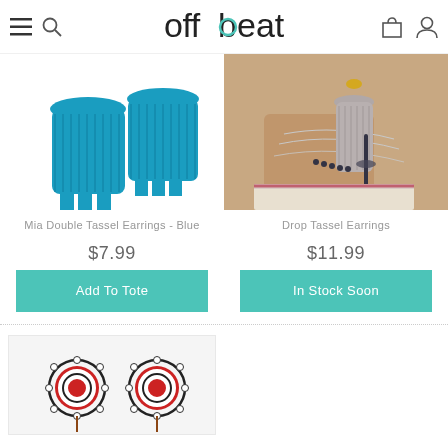offbeat
[Figure (photo): Blue tassel earrings on white background]
[Figure (photo): Gray drop tassel earrings worn by person with layered necklaces]
Mia Double Tassel Earrings - Blue
Drop Tassel Earrings
$7.99
$11.99
Add To Tote
In Stock Soon
[Figure (photo): Red and white circular beaded earrings on light background]